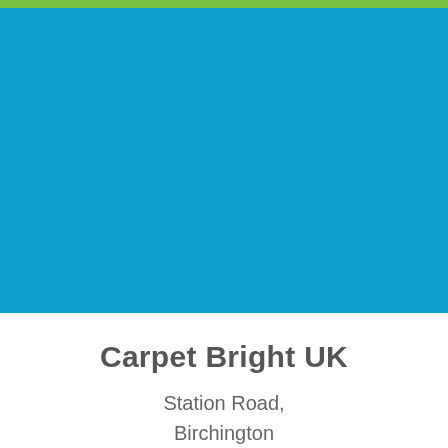[Figure (illustration): Green bar at top and large blue rectangle covering upper portion of the page, representing a company branding/header image area.]
Carpet Bright UK
Station Road,
Birchington